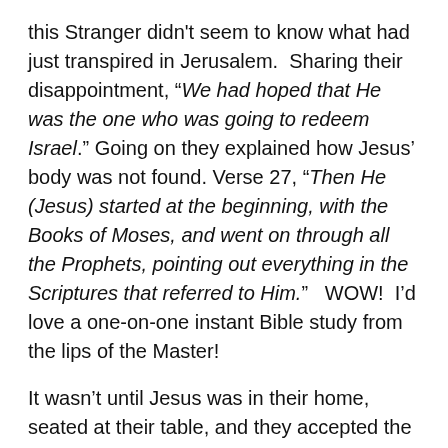this Stranger didn't seem to know what had just transpired in Jerusalem.  Sharing their disappointment, “We had hoped that He was the one who was going to redeem Israel.” Going on they explained how Jesus’ body was not found. Verse 27, “Then He (Jesus) started at the beginning, with the Books of Moses, and went on through all the Prophets, pointing out everything in the Scriptures that referred to Him.”   WOW!  I’d love a one-on-one instant Bible study from the lips of the Master!
It wasn’t until Jesus was in their home, seated at their table, and they accepted the bread He offered, that their eyes were opened, and they had the revelation of Who He was. Could it be (just an observation) that as Jesus reached forward, giving the bread, the sleeve of His garment slid up and they could see His nail scarred hand? And because you saw the nail in his hand?